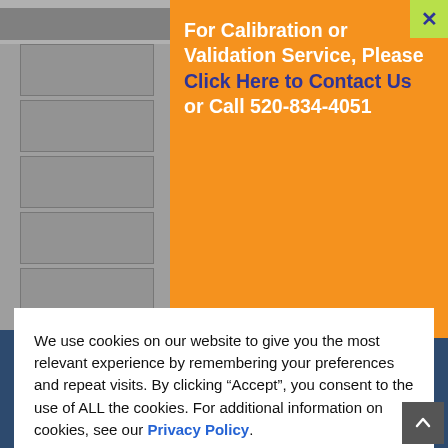[Figure (screenshot): Orange popup banner with close button (X) showing calibration/validation service contact information with blue hyperlink text and phone number 520-834-4051]
We use cookies on our website to give you the most relevant experience by remembering your preferences and repeat visits. By clicking “Accept”, you consent to the use of ALL the cookies. For additional information on cookies, see our Privacy Policy.
ACCEPT
We have a new policy regarding fully vaccinated employees and face masks. Please click here to read the full notice to employees.